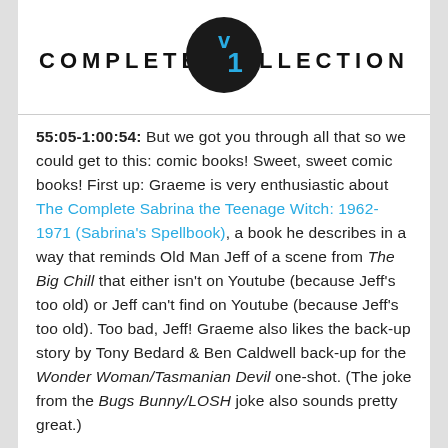[Figure (logo): COMPLETE v1 COLLECTION logo — text 'COMPLETE' on left, 'COLLECTION' on right, with a black circle in the center containing a cyan/blue checkmark and the number '1' in cyan]
55:05-1:00:54:  But we got you through all that so we could get to this: comic books!  Sweet, sweet comic books!  First up: Graeme is very enthusiastic about The Complete Sabrina the Teenage Witch: 1962-1971 (Sabrina's Spellbook), a book he describes in a way that reminds Old Man Jeff of a scene from The Big Chill that either isn't on Youtube (because Jeff's too old) or Jeff can't find on Youtube (because Jeff's too old).  Too bad, Jeff!  Graeme also likes the back-up story by Tony Bedard & Ben Caldwell back-up for the Wonder Woman/Tasmanian Devil one-shot. (The joke from the Bugs Bunny/LOSH joke also sounds pretty great.)